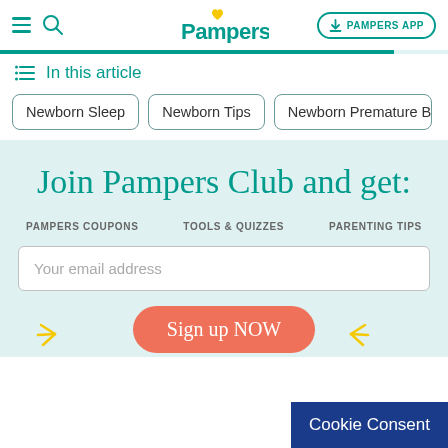Pampers — navigation bar with hamburger, search, logo, and PAMPERS APP button
In this article
Newborn Sleep
Newborn Tips
Newborn Premature Ba...
Join Pampers Club and get:
PAMPERS COUPONS    TOOLS & QUIZZES    PARENTING TIPS
Your email address
Sign up NOW
Cookie Consent